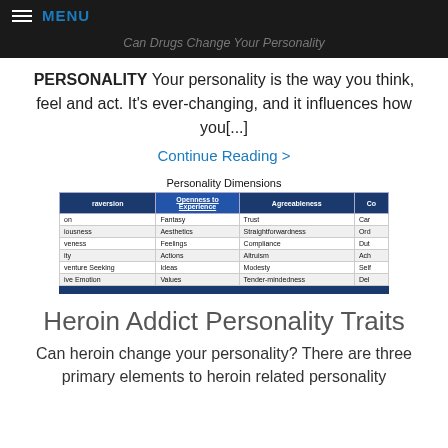MENU
Can Drugs Change Your Personality
PERSONALITY Your personality is the way you think, feel and act. It's ever-changing, and it influences how you[...]
Continue Reading >
[Figure (table-as-image): Personality Dimensions table showing columns: Extraversion, Openness to Experience, Agreeableness, Conscientiousness with rows listing personality facets]
Heroin Addict Personality Traits
Can heroin change your personality? There are three primary elements to heroin related personality